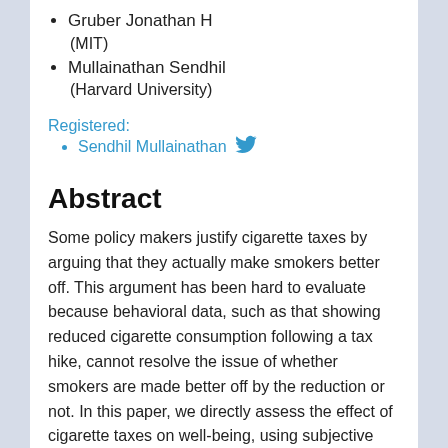Gruber Jonathan H (MIT)
Mullainathan Sendhil (Harvard University)
Registered:
Sendhil Mullainathan [Twitter]
Abstract
Some policy makers justify cigarette taxes by arguing that they actually make smokers better off. This argument has been hard to evaluate because behavioral data, such as that showing reduced cigarette consumption following a tax hike, cannot resolve the issue of whether smokers are made better off by the reduction or not. In this paper, we directly assess the effect of cigarette taxes on well-being, using subjective well-being data. We model